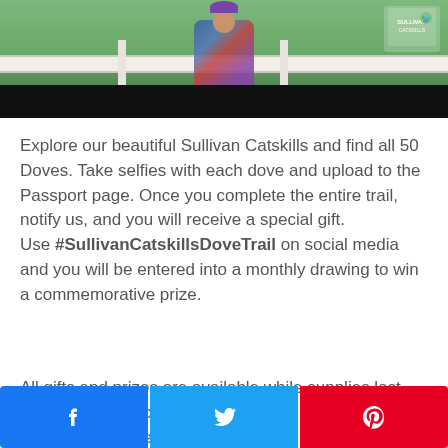[Figure (photo): Partial photo of a person near a white fence with green grass background; bottom portion shows a black bar. A logo appears in the upper right corner.]
Explore our beautiful Sullivan Catskills and find all 50 Doves. Take selfies with each dove and upload to the Passport page. Once you complete the entire trail, notify us, and you will receive a special gift. Use #SullivanCatskillsDoveTrail on social media and you will be entered into a monthly drawing to win a commemorative prize.
All gifts and prizes are available while supplies last. The Passport Program will have new features throughout the year so keep coming
Facebook share | Twitter share | Pinterest share